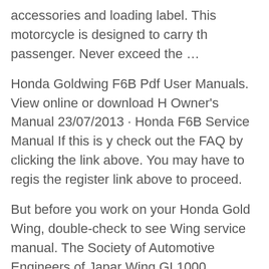accessories and loading label. This motorcycle is designed to carry the passenger. Never exceed the …
Honda Goldwing F6B Pdf User Manuals. View online or download Honda Owner's Manual 23/07/2013 · Honda F6B Service Manual If this is your first visit, check out the FAQ by clicking the link above. You may have to register before using the register link above to proceed.
But before you work on your Honda Gold Wing, double-check to see if you Wing service manual. The Society of Automotive Engineers of Japan named the Gold Wing GL1000 produced in 1974 as one of their 240 Landmarks of Japanese Automotive Technology. The Honda GL models have appeared eighteen times in Motor Co., Ltd. 2013 OWNER'S MANUAL MANUAL DEL PROPIETARIO GOLDWING F6B USO E MANUTENZIONE 13/02/07 11:38:50 32 motorcycle is designed to carry the operator and one passenger. Never exceed the weight capacity as shown on the accessories and loading label. This motorcycle is designed to carry the operator and one passenger. Never exceed the …
View and Download Honda GL1800 service manual online. GL1800